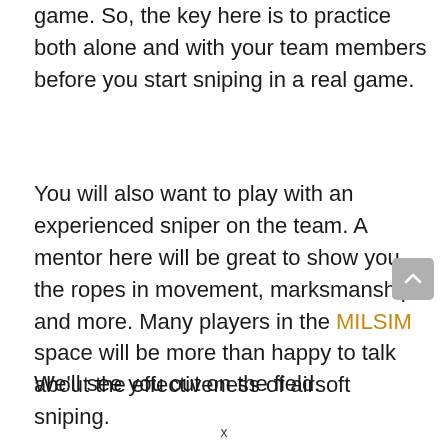game. So, the key here is to practice both alone and with your team members before you start sniping in a real game.
You will also want to play with an experienced sniper on the team. A mentor here will be great to show you the ropes in movement, marksmanship, and more. Many players in the MILSIM space will be more than happy to talk about the effectiveness of airsoft sniping.
We'll see you out on the field.